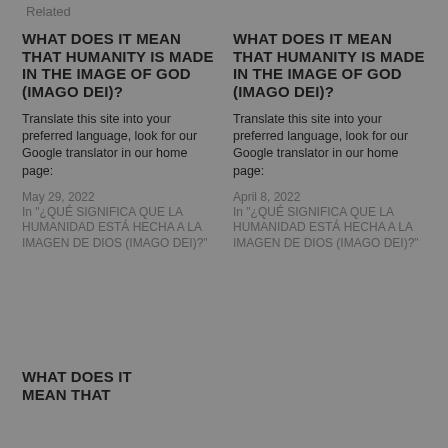Related
WHAT DOES IT MEAN THAT HUMANITY IS MADE IN THE IMAGE OF GOD (IMAGO DEI)?
Translate this site into your preferred language, look for our Google translator in our home page:
May 29, 2022
In "¿QUÉ SIGNIFICA QUE LA HUMANIDAD ESTÁ HECHA A LA IMAGEN DE DIOS (IMAGO DEI)?"
WHAT DOES IT MEAN THAT HUMANITY IS MADE IN THE IMAGE OF GOD (IMAGO DEI)?
Translate this site into your preferred language, look for our Google translator in our home page:
April 8, 2022
In "¿QUÉ SIGNIFICA QUE LA HUMANIDAD ESTÁ HECHA A LA IMAGEN DE DIOS (IMAGO DEI)?"
WHAT DOES IT MEAN THAT